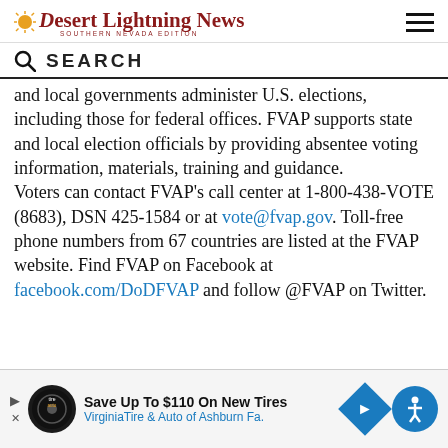Desert Lightning News SOUTHERN NEVADA EDITION
SEARCH
and local governments administer U.S. elections, including those for federal offices. FVAP supports state and local election officials by providing absentee voting information, materials, training and guidance.
Voters can contact FVAP's call center at 1-800-438-VOTE (8683), DSN 425-1584 or at vote@fvap.gov. Toll-free phone numbers from 67 countries are listed at the FVAP website. Find FVAP on Facebook at facebook.com/DoDFVAP and follow @FVAP on Twitter.
[Figure (other): Advertisement banner: Save Up To $110 On New Tires - VirginiaTire & Auto of Ashburn Fa. with tire store logo, navigation arrow icon, and accessibility button.]